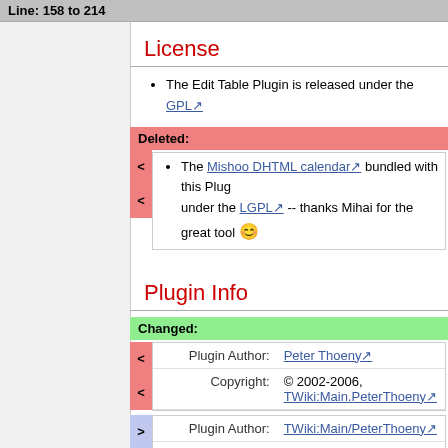Line: 158 to 214
License
The Edit Table Plugin is released under the GPL
Deleted:
The Mishoo DHTML calendar bundled with this Plugin is released under the LGPL -- thanks Mihai for the great tool :)
Plugin Info
Changed:
|  |  |
| --- | --- |
| Plugin Author: | Peter Thoeny |
| Copyright: | © 2002-2006, TWiki:Main.PeterThoeny |
|  |  |
| --- | --- |
| Plugin Author: | TWiki:Main/PeterThoeny |
| Copyright: | © 2002-2007, TWiki:Main.PeterThoeny (TV... |